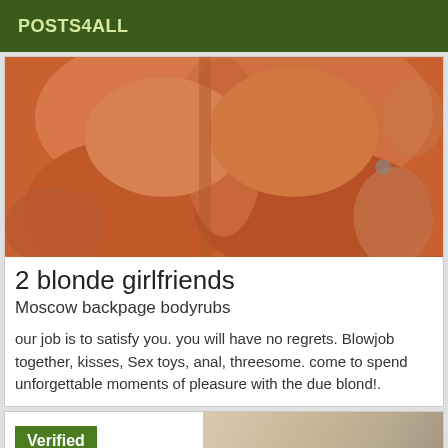POSTS4ALL
[Figure (photo): Close-up photo with warm orange/skin tones]
2 blonde girlfriends
Moscow backpage bodyrubs
our job is to satisfy you. you will have no regrets. Blowjob together, kisses, Sex toys, anal, threesome. come to spend unforgettable moments of pleasure with the due blond!.
[Figure (photo): Partially visible photo with Verified badge overlay]